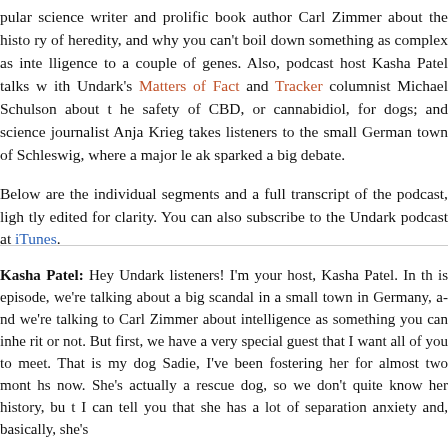pular science writer and prolific book author Carl Zimmer about the history of heredity, and why you can't boil down something as complex as intelligence to a couple of genes. Also, podcast host Kasha Patel talks with Undark's Matters of Fact and Tracker columnist Michael Schulson about the safety of CBD, or cannabidiol, for dogs; and science journalist Anja Krieg takes listeners to the small German town of Schleswig, where a major leak sparked a big debate.
Below are the individual segments and a full transcript of the podcast, lightly edited for clarity. You can also subscribe to the Undark podcast at iTunes.
Kasha Patel: Hey Undark listeners! I'm your host, Kasha Patel. In this episode, we're talking about a big scandal in a small town in Germany, and we're talking to Carl Zimmer about intelligence as something you can inherit or not. But first, we have a very special guest that I want all of you to meet. That is my dog Sadie, I've been fostering her for almost two months now. She's actually a rescue dog, so we don't quite know her history, but I can tell you that she has a lot of separation anxiety and, basically, she's